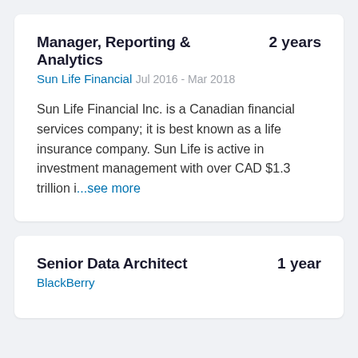Manager, Reporting & Analytics
2 years
Sun Life Financial
Jul 2016 - Mar 2018
Sun Life Financial Inc. is a Canadian financial services company; it is best known as a life insurance company. Sun Life is active in investment management with over CAD $1.3 trillion i...see more
Senior Data Architect
1 year
BlackBerry